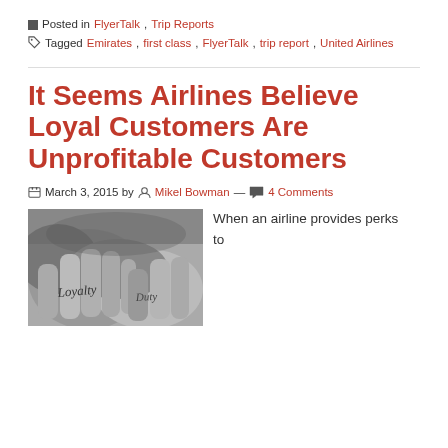Posted in FlyerTalk, Trip Reports
Tagged Emirates, first class, FlyerTalk, trip report, United Airlines
It Seems Airlines Believe Loyal Customers Are Unprofitable Customers
March 3, 2015 by Mikel Bowman — 4 Comments
[Figure (photo): Black and white close-up photo of hands with 'Loyalty' and 'Duty' tattoos]
When an airline provides perks to